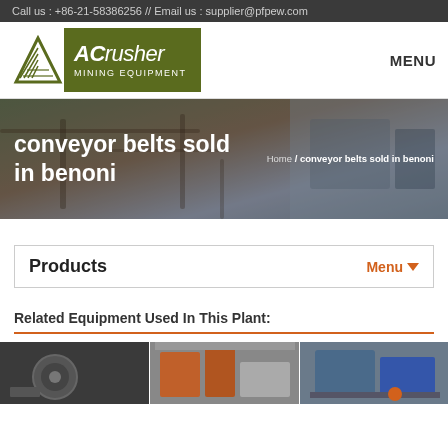Call us : +86-21-58386256 // Email us : supplier@pfpew.com
[Figure (logo): ACrusher Mining Equipment logo with green triangle and text]
MENU
[Figure (photo): Industrial conveyor belt machinery background photo]
conveyor belts sold in benoni
Home / conveyor belts sold in benoni
Products
Menu ▼
Related Equipment Used In This Plant:
[Figure (photo): Three industrial mining equipment photos side by side showing crushers and processing machinery]